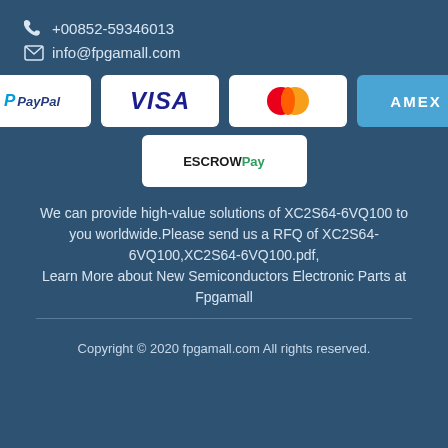+00852-59346013
info@fpgamall.com
[Figure (other): Payment method logos: PayPal, VISA, Mastercard, AMEX, ESCROWPay]
We can provide high-value solutions of XC2S64-6VQ100 to you worldwide.Please send us a RFQ of XC2S64-6VQ100,XC2S64-6VQ100.pdf,
Learn More about New Semiconductors Electronic Parts at Fpgamall
Copyright © 2020 fpgamall.com All rights reserved.